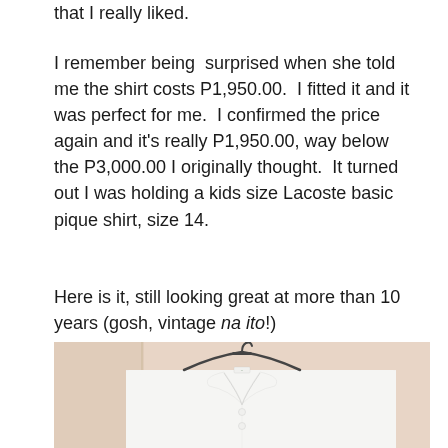that I really liked.
I remember being surprised when she told me the shirt costs P1,950.00. I fitted it and it was perfect for me. I confirmed the price again and it’s really P1,950.00, way below the P3,000.00 I originally thought. It turned out I was holding a kids size Lacoste basic pique shirt, size 14.
Here is it, still looking great at more than 10 years (gosh, vintage na ito!)
[Figure (photo): A white Lacoste polo shirt hanging on a dark hanger against a light beige/pink background. The shirt is a basic pique polo with a collar and buttons.]